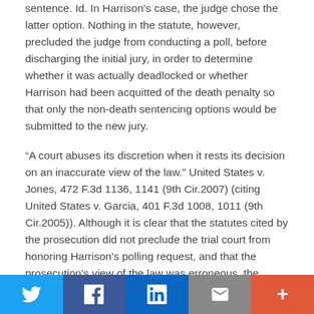sentence. Id. In Harrison's case, the judge chose the latter option. Nothing in the statute, however, precluded the judge from conducting a poll, before discharging the initial jury, in order to determine whether it was actually deadlocked or whether Harrison had been acquitted of the death penalty so that only the non-death sentencing options would be submitted to the new jury.
“A court abuses its discretion when it rests its decision on an inaccurate view of the law.” United States v. Jones, 472 F.3d 1136, 1141 (9th Cir.2007) (citing United States v. Garcia, 401 F.3d 1008, 1011 (9th Cir.2005)). Although it is clear that the statutes cited by the prosecution did not preclude the trial court from honoring Harrison's polling request, and that the prosecution's view of the law was erroneous, the record does not make clear whether the trial court relied on the cited statutes in denying the request. The judge's response to the
Twitter | Facebook | LinkedIn | Email | More